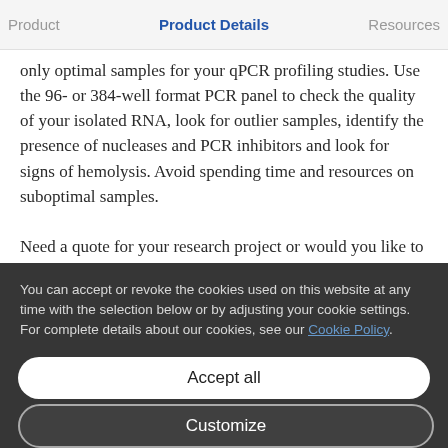Product    Product Details    Resources
only optimal samples for your qPCR profiling studies. Use the 96- or 384-well format PCR panel to check the quality of your isolated RNA, look for outlier samples, identify the presence of nucleases and PCR inhibitors and look for signs of hemolysis. Avoid spending time and resources on suboptimal samples.

Need a quote for your research project or would you like to
You can accept or revoke the cookies used on this website at any time with the selection below or by adjusting your cookie settings. For complete details about our cookies, see our Cookie Policy.
Accept all
Customize
Only necessary